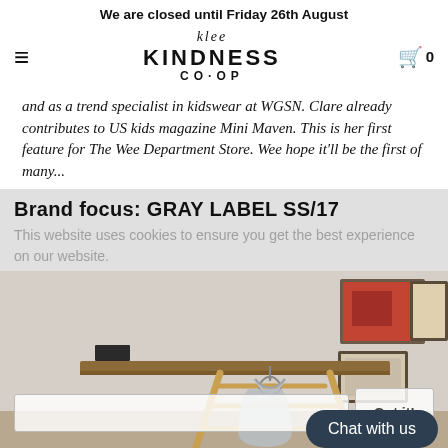We are closed until Friday 26th August
[Figure (logo): Klee Kindness Co-op logo with hamburger menu and cart icon]
and as a trend specialist in kidswear at WGSN. Clare already contributes to US kids magazine Mini Maven. This is her first feature for The Wee Department Store. Wee hope it'll be the first of many...
Brand focus: GRAY LABEL SS/17
This website uses cookies to ensure you get the best experience on our website.
[Figure (photo): Photo of a room with a wooden ladder, a gray dress hanging on a hanger, framed art on the wall]
Chat with us